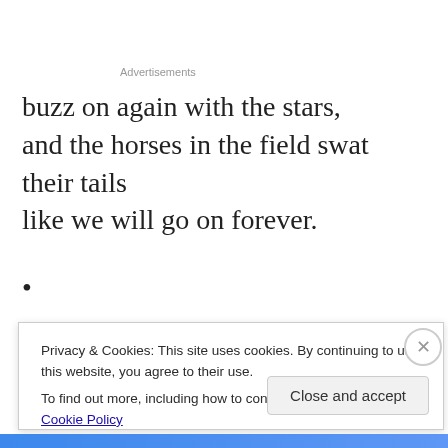Advertisements
buzz on again with the stars,
and the horses in the field swat their tails
like we will go on forever.
•
I'm at my desk herding some
lost language when I notice how quiet
Privacy & Cookies: This site uses cookies. By continuing to use this website, you agree to their use.
To find out more, including how to control cookies, see here: Cookie Policy
Close and accept